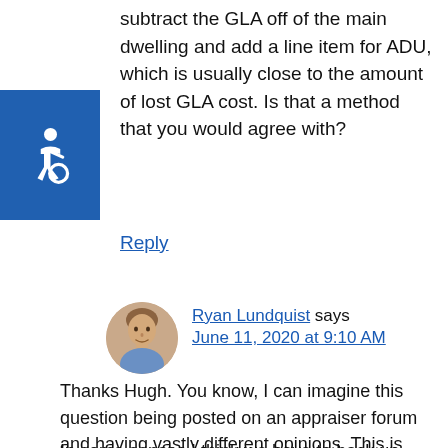subtract the GLA off of the main dwelling and add a line item for ADU, which is usually close to the amount of lost GLA cost. Is that a method that you would agree with?
[Figure (illustration): Blue wheelchair accessibility icon]
Reply
[Figure (photo): Profile photo of Ryan Lundquist, a man in a blue shirt]
Ryan Lundquist says
June 11, 2020 at 9:10 AM
Thanks Hugh. You know, I can imagine this question being posted on an appraiser forum and having vastly different opinions. This is tricky and I don't know that there is a one-size-fits-all answer either.
In some senses I think we have to back up